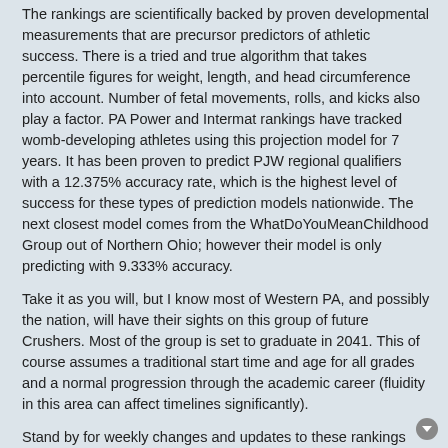The rankings are scientifically backed by proven developmental measurements that are precursor predictors of athletic success. There is a tried and true algorithm that takes percentile figures for weight, length, and head circumference into account. Number of fetal movements, rolls, and kicks also play a factor. PA Power and Intermat rankings have tracked womb-developing athletes using this projection model for 7 years. It has been proven to predict PJW regional qualifiers with a 12.375% accuracy rate, which is the highest level of success for these types of prediction models nationwide. The next closest model comes from the WhatDoYouMeanChildhood Group out of Northern Ohio; however their model is only predicting with 9.333% accuracy.
Take it as you will, but I know most of Western PA, and possibly the nation, will have their sights on this group of future Crushers. Most of the group is set to graduate in 2041. This of course assumes a traditional start time and age for all grades and a normal progression through the academic career (fluidity in this area can affect timelines significantly).
Stand by for weekly changes and updates to these rankings (social media will be the most reliable and often used means for sharing info in regards to this riveting development). Enjoy!
-as this satirical piece was made, it became evident that it is not that ridiculously far from many truths 🤔